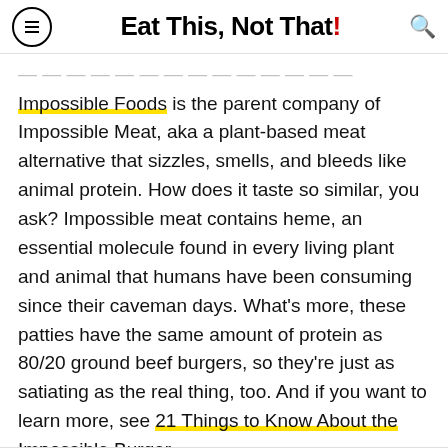Eat This, Not That!
Impossible Foods is the parent company of Impossible Meat, aka a plant-based meat alternative that sizzles, smells, and bleeds like animal protein. How does it taste so similar, you ask? Impossible meat contains heme, an essential molecule found in every living plant and animal that humans have been consuming since their caveman days. What's more, these patties have the same amount of protein as 80/20 ground beef burgers, so they're just as satiating as the real thing, too. And if you want to learn more, see 21 Things to Know About the Impossible Burger.